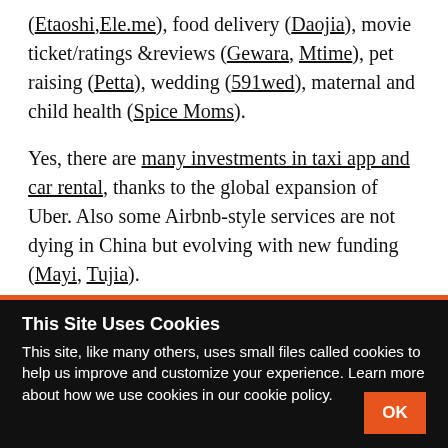(Etaoshi, Ele.me), food delivery (Daojia), movie ticket/ratings &reviews (Gewara, Mtime), pet raising (Petta), wedding (591wed), maternal and child health (Spice Moms).
Yes, there are many investments in taxi app and car rental, thanks to the global expansion of Uber. Also some Airbnb-style services are not dying in China but evolving with new funding (Mayi, Tujia).
This Site Uses Cookies
This site, like many others, uses small files called cookies to help us improve and customize your experience. Learn more about how we use cookies in our cookie policy.